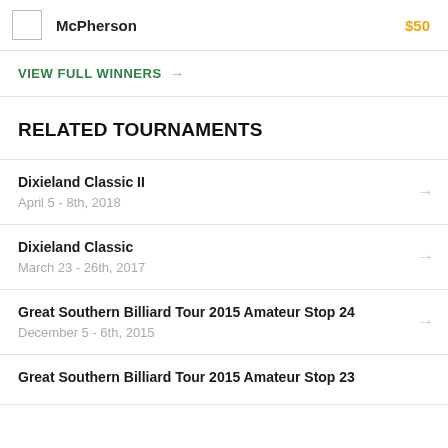McPherson   $50
VIEW FULL WINNERS →
RELATED TOURNAMENTS
Dixieland Classic II
April 5 - 8th, 2018
Dixieland Classic
March 23 - 26th, 2017
Great Southern Billiard Tour 2015 Amateur Stop 24
December 5 - 6th, 2015
Great Southern Billiard Tour 2015 Amateur Stop 23